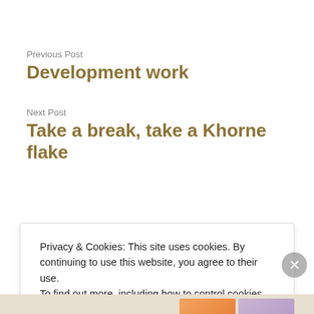Previous Post
Development work
Next Post
Take a break, take a Khorne flake
Privacy & Cookies: This site uses cookies. By continuing to use this website, you agree to their use.
To find out more, including how to control cookies, see here: Cookie Policy
Close and accept